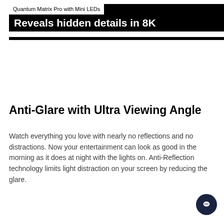Quantum Matrix Pro with Mini LEDs
Reveals hidden details in 8K
Anti-Glare with Ultra Viewing Angle
Watch everything you love with nearly no reflections and no distractions. Now your entertainment can look as good in the morning as it does at night with the lights on. Anti-Reflection technology limits light distraction on your screen by reducing the glare.